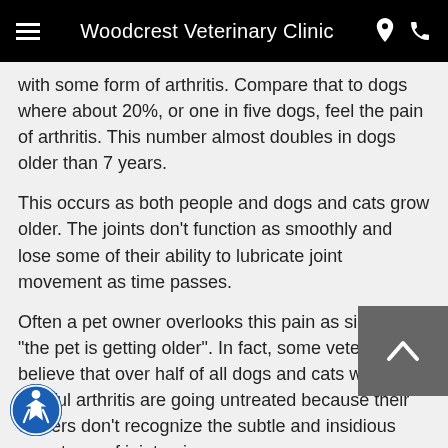Woodcrest Veterinary Clinic
with some form of arthritis. Compare that to dogs where about 20%, or one in five dogs, feel the pain of arthritis. This number almost doubles in dogs older than 7 years.
This occurs as both people and dogs and cats grow older. The joints don't function as smoothly and lose some of their ability to lubricate joint movement as time passes.
Often a pet owner overlooks this pain as simply "the pet is getting older". In fact, some veterinarians believe that over half of all dogs and cats with painful arthritis are going untreated because their owners don't recognize the subtle and insidious symptoms of joint pain.
Chronic pain can change a person and it can change your personality and interaction with people. If you are concerned that your pet may be in pain, ask your veterinarian.